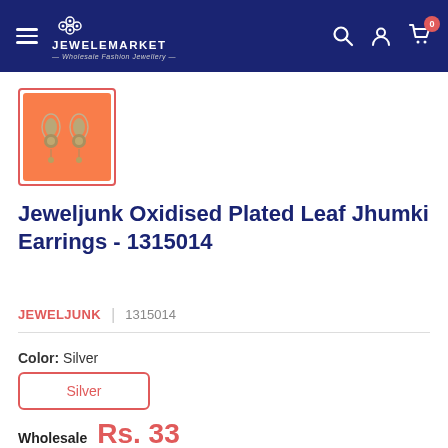JEWELEMARKET — Wholesale Fashion Jewellery
[Figure (photo): Product thumbnail of Jeweljunk Oxidised Plated Leaf Jhumki Earrings on orange background, shown inside a red border frame]
Jeweljunk Oxidised Plated Leaf Jhumki Earrings - 1315014
JEWELJUNK  |  1315014
Color:  Silver
Silver
Wholesale  Rs. 33